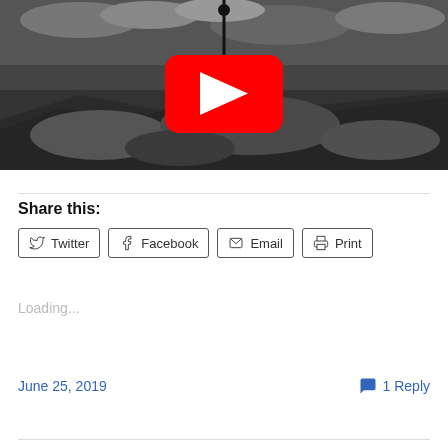[Figure (screenshot): Black and white photograph of rocky cliffs overlooking the ocean with a YouTube play button overlay in the center]
Share this:
Twitter  Facebook  Email  Print
Loading...
June 25, 2019
1 Reply